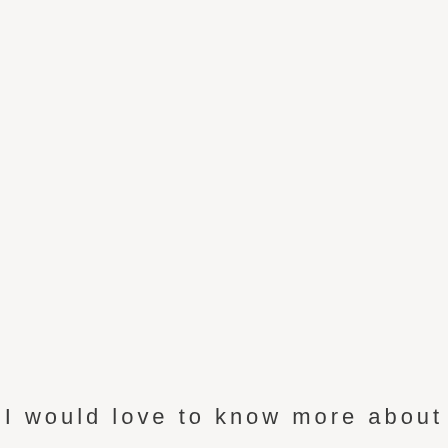I would love to know more about